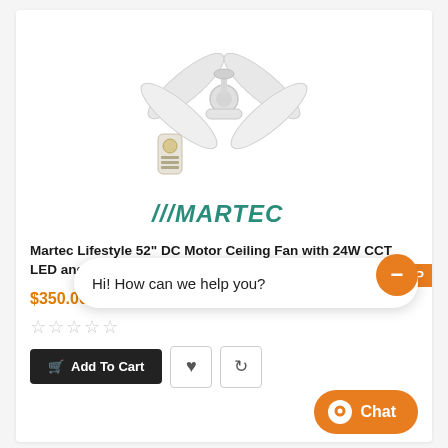[Figure (photo): White ceiling fan with 4 blades and a remote control shown separately below the fan, both in white, product image on white background]
[Figure (logo): MARTEC brand logo in teal/dark green with three forward slashes before the word MARTEC in italic bold font]
Martec Lifestyle 52" DC Motor Ceiling Fan with 24W CCT LED and Remote Control - White
$350.00 $499.00
☆☆☆☆☆
Add To Cart
Hi! How can we help you?
Chat